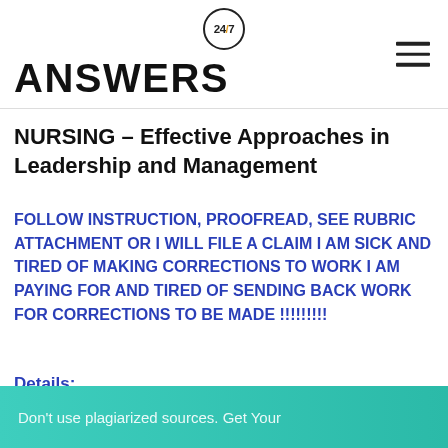24/7 ANSWERS
NURSING – Effective Approaches in Leadership and Management
FOLLOW INSTRUCTION, PROOFREAD, SEE RUBRIC ATTACHMENT OR I WILL FILE A CLAIM I AM SICK AND TIRED OF MAKING CORRECTIONS TO WORK I AM PAYING FOR AND TIRED OF SENDING BACK WORK FOR CORRECTIONS TO BE MADE !!!!!!!!!
Details:
Don't use plagiarized sources. Get Your